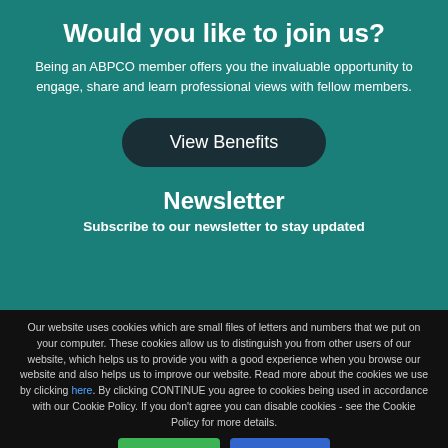Would you like to join us?
Being an ABPCO member offers you the invaluable opportunity to engage, share and learn professional views with fellow members.
View Benefits
Newsletter
Subscribe to our newsletter to stay updated
Our website uses cookies which are small files of letters and numbers that we put on your computer. These cookies allow us to distinguish you from other users of our website, which helps us to provide you with a good experience when you browse our website and also helps us to improve our website. Read more about the cookies we use by clicking here. By clicking CONTINUE you agree to cookies being used in accordance with our Cookie Policy. If you don't agree you can disable cookies - see the Cookie Policy for more details.
Continue ✔
Read More